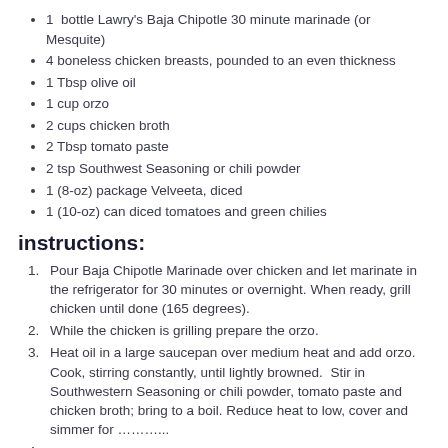1  bottle Lawry's Baja Chipotle 30 minute marinade (or Mesquite)
4 boneless chicken breasts, pounded to an even thickness
1 Tbsp olive oil
1 cup orzo
2 cups chicken broth
2 Tbsp tomato paste
2 tsp Southwest Seasoning or chili powder
1 (8-oz) package Velveeta, diced
1 (10-oz) can diced tomatoes and green chilies
instructions:
Pour Baja Chipotle Marinade over chicken and let marinate in the refrigerator for 30 minutes or overnight. When ready, grill chicken until done (165 degrees).
While the chicken is grilling prepare the orzo.
Heat oil in a large saucepan over medium heat and add orzo. Cook, stirring constantly, until lightly browned.  Stir in Southwestern Seasoning or chili powder, tomato paste and chicken broth; bring to a boil. Reduce heat to low, cover and simmer for ………..
4.